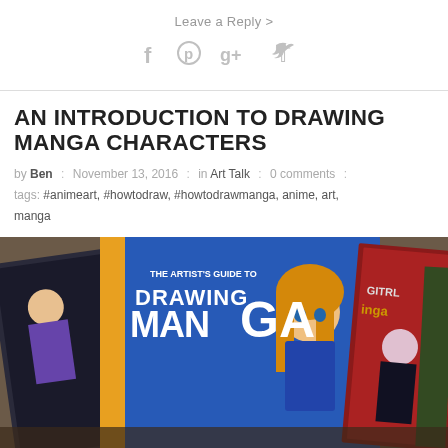Leave a Reply >
[Figure (infographic): Social media share icons: Facebook, Pinterest, Google+, Twitter in grey]
AN INTRODUCTION TO DRAWING MANGA CHARACTERS
by Ben : November 13, 2016 : in Art Talk : 0 comments : tags: #animeart, #howtodraw, #howtodrawmanga, anime, art, manga
[Figure (photo): Photo of manga art books fanned out on a surface, including 'The Artist's Guide to Drawing Manga' with an anime girl character on the cover]